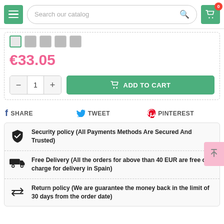[Figure (screenshot): E-commerce website header with hamburger menu button, search bar reading 'Search our catalog', and shopping cart icon with badge showing 0]
[Figure (screenshot): Product color swatch selector row showing one selected swatch and four gray swatches]
€33.05
[Figure (screenshot): Quantity selector with minus, 1, plus buttons and green ADD TO CART button with cart icon]
SHARE  TWEET  PINTEREST
Security policy (All Payments Methods Are Secured And Trusted)
Free Delivery (All the orders for above than 40 EUR are free of charge for delivery in Spain)
Return policy (We are guarantee the money back in the limit of 30 days from the order date)